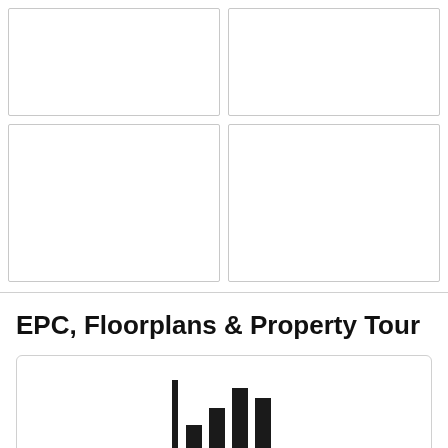[Figure (other): 2x2 grid of empty image placeholder boxes with light borders]
EPC, Floorplans & Property Tour
[Figure (infographic): EPC card with bar chart icon, label 'EPC', and subtitle 'Energy Performance Certificate']